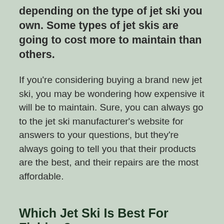depending on the type of jet ski you own. Some types of jet skis are going to cost more to maintain than others.
If you're considering buying a brand new jet ski, you may be wondering how expensive it will be to maintain. Sure, you can always go to the jet ski manufacturer's website for answers to your questions, but they're always going to tell you that their products are the best, and their repairs are the most affordable.
Which Jet Ski Is Best For Fishing?
There is a lot to consider when you are looking to go fishing on a jet ski. There are a lot of jet ski